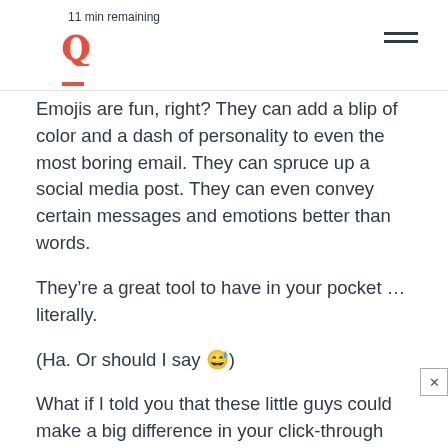11 min remaining
Emojis are fun, right? They can add a blip of color and a dash of personality to even the most boring email. They can spruce up a social media post. They can even convey certain messages and emotions better than words.
They’re a great tool to have in your pocket … literally.
(Ha. Or should I say 😅)
What if I told you that these little guys could make a big difference in your click-through rates, open rates, and general engagement levels — that they could breathe life into your brand? That kind of changes the game